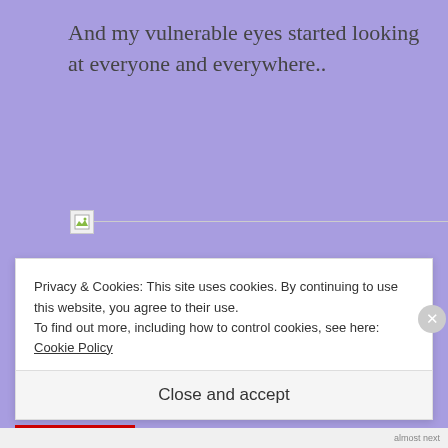And my vulnerable eyes started looking at everyone and everywhere..
[Figure (other): Broken image placeholder with a horizontal line extending to the right]
Privacy & Cookies: This site uses cookies. By continuing to use this website, you agree to their use.
To find out more, including how to control cookies, see here: Cookie Policy
Close and accept